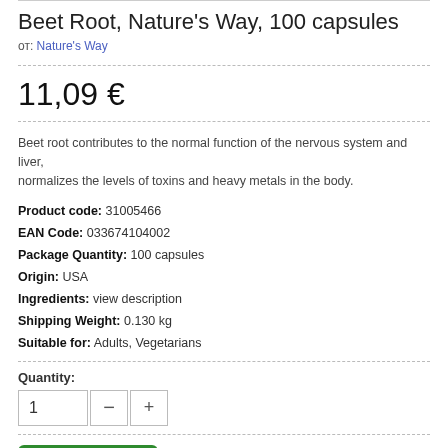Beet Root, Nature's Way, 100 capsules
от: Nature's Way
11,09 €
Beet root contributes to the normal function of the nervous system and liver, normalizes the levels of toxins and heavy metals in the body.
Product code: 31005466
EAN Code: 033674104002
Package Quantity: 100 capsules
Origin: USA
Ingredients: view description
Shipping Weight: 0.130 kg
Suitable for: Adults, Vegetarians
Quantity:
1
Add to cart